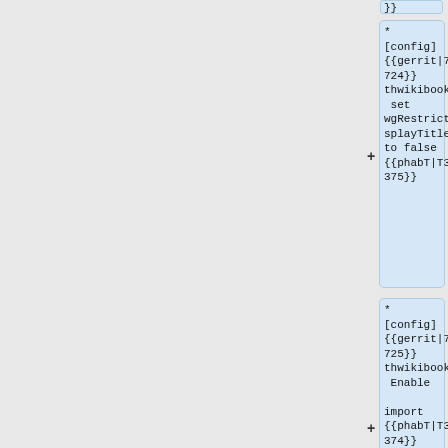* [config] {{gerrit|791724}} thwikibooks: set wgRestrictDisplayTitle to false {{phabT|T308375}}
* [config] {{gerrit|791725}} thwikibooks: Enable import {{phabT|T308374}}
{{ircnick|ir